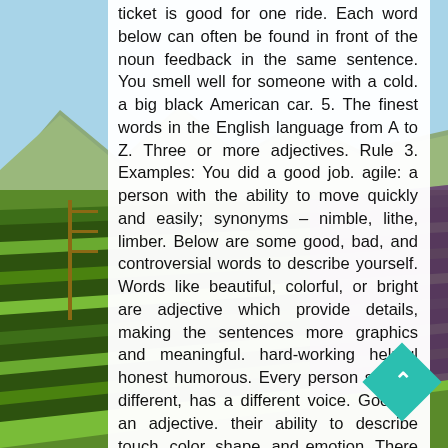[Figure (photo): Aerial/landscape view of agricultural farm fields with colorful rows of crops, mountains in background and blue sky. The image appears on the left side of the page behind the text overlay.]
ticket is good for one ride. Each word below can often be found in front of the noun feedback in the same sentence. You smell well for someone with a cold. a big black American car. 5. The finest words in the English language from A to Z. Three or more adjectives. Rule 3. Examples: You did a good job. agile: a person with the ability to move quickly and easily; synonyms – nimble, lithe, limber. Below are some good, bad, and controversial words to describe yourself. Words like beautiful, colorful, or bright are adjective which provide details, making the sentences more graphics and meaningful. hard-working helpful honest humorous. Every person sounds different, has a different voice. Good is an adjective. their ability to describe touch, color, shape, and emotion. There are varied adjectives to describe a person beyond the common ones like 'good' or 'bad', 'beautiful' or 'wicked'. Keep in mind that although they all mean "well-educated," each word has a different connotation (implied meaning or tone).